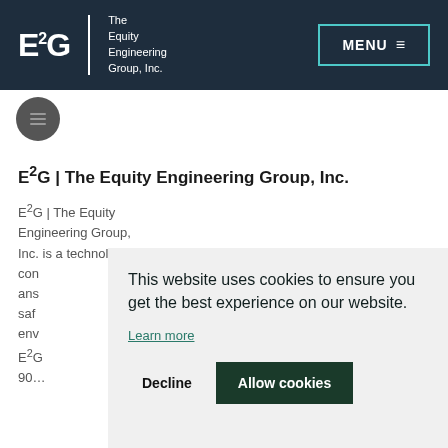E2G | The Equity Engineering Group, Inc. — MENU
[Figure (logo): Gray circular icon with horizontal lines]
E2G | The Equity Engineering Group, Inc.
E2G | The Equity Engineering Group, Inc. is a technology-driven engineering consulting company answering safety and environmental challenges.
E2G ... 900...
This website uses cookies to ensure you get the best experience on our website.
Learn more
Decline   Allow cookies